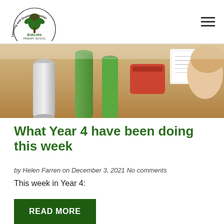Estcots Primary School — Learning and Growing Together
[Figure (photo): A child sitting at a school desk looking at worksheets, with water bottles and a pencil case visible on the wooden desk.]
What Year 4 have been doing this week
by Helen Farren on December 3, 2021 No comments
This week in Year 4:
READ MORE